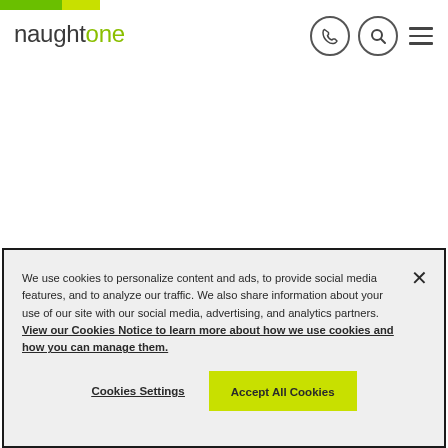naughtone
We use cookies to personalize content and ads, to provide social media features, and to analyze our traffic. We also share information about your use of our site with our social media, advertising, and analytics partners. View our Cookies Notice to learn more about how we use cookies and how you can manage them.
Cookies Settings | Accept All Cookies